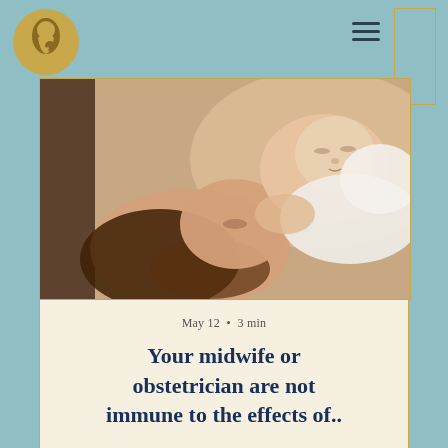[Figure (logo): Gold circular logo with silhouette of pregnant woman]
[Figure (photo): A mother tenderly looking at her sleeping newborn baby held close to her chest]
May 12  •  3 min
Your midwife or obstetrician are not immune to the effects of..
So, you are planning to birth your baby in Scotland and you might be into statistics. There are people ou...